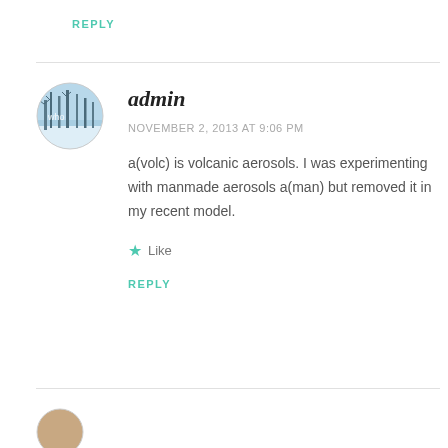REPLY
[Figure (photo): Circular avatar photo of winter scene with bare trees and snow, with text overlay 'who']
admin
NOVEMBER 2, 2013 AT 9:06 PM
a(volc) is volcanic aerosols. I was experimenting with manmade aerosols a(man) but removed it in my recent model.
Like
REPLY